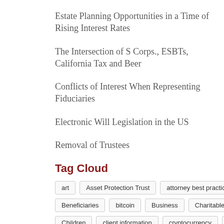Estate Planning Opportunities in a Time of Rising Interest Rates
The Intersection of S Corps., ESBTs, California Tax and Beer
Conflicts of Interest When Representing Fiduciaries
Electronic Will Legislation in the US
Removal of Trustees
Tag Cloud
art
Asset Protection Trust
attorney best practices
Beneficiaries
bitcoin
Business
Charitable Giving
Children
client information
cryptocurrency
Disability